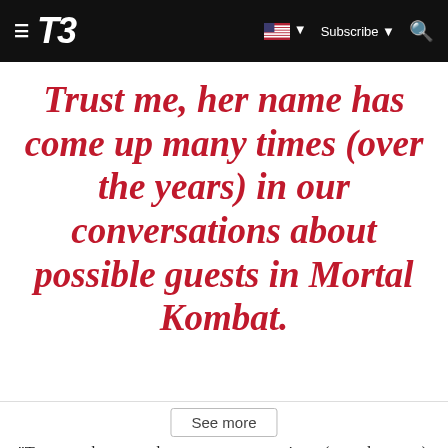T3 | Subscribe | [search]
Trust me, her name has come up many times (over the years) in our conversations about possible guests in Mortal Kombat.
"Trust me, her name has come up many times (over the years) in our conversations about possible guests in Mortal Kombat," wrote Boon.